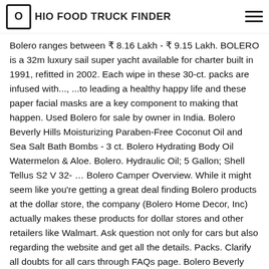OHIO FOOD TRUCK FINDER
Bolero ranges between ₹ 8.16 Lakh - ₹ 9.15 Lakh. BOLERO is a 32m luxury sail super yacht available for charter built in 1991, refitted in 2002. Each wipe in these 30-ct. packs are infused with..., ...to leading a healthy happy life and these paper facial masks are a key component to making that happen. Used Bolero for sale by owner in India. Bolero Beverly Hills Moisturizing Paraben-Free Coconut Oil and Sea Salt Bath Bombs - 3 ct. Bolero Hydrating Body Oil Watermelon & Aloe. Bolero. Hydraulic Oil; 5 Gallon; Shell Tellus S2 V 32- ... Bolero Camper Overview. While it might seem like you're getting a great deal finding Bolero products at the dollar store, the company (Bolero Home Decor, Inc) actually makes these products for dollar stores and other retailers like Walmart. Ask question not only for cars but also regarding the website and get all the details. Packs. Clarify all doubts for all cars through FAQs page. Bolero Beverly Hills Watermelon Scented Facial Wipes, 30 ct. Quality Turkey